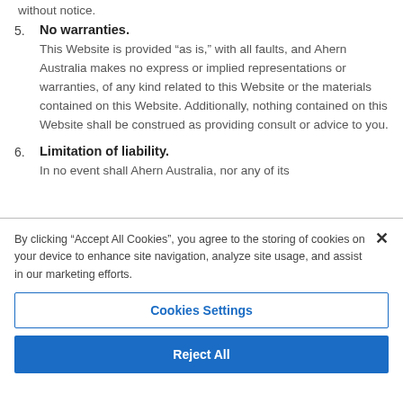without notice.
5. No warranties. This Website is provided “as is,” with all faults, and Ahern Australia makes no express or implied representations or warranties, of any kind related to this Website or the materials contained on this Website. Additionally, nothing contained on this Website shall be construed as providing consult or advice to you.
6. Limitation of liability. In no event shall Ahern Australia, nor any of its
By clicking “Accept All Cookies”, you agree to the storing of cookies on your device to enhance site navigation, analyze site usage, and assist in our marketing efforts.
Cookies Settings
Reject All